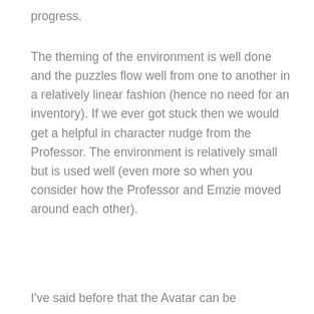progress.
The theming of the environment is well done and the puzzles flow well from one to another in a relatively linear fashion (hence no need for an inventory). If we ever got stuck then we would get a helpful in character nudge from the Professor. The environment is relatively small but is used well (even more so when you consider how the Professor and Emzie moved around each other).
I've said before that the Avatar can be